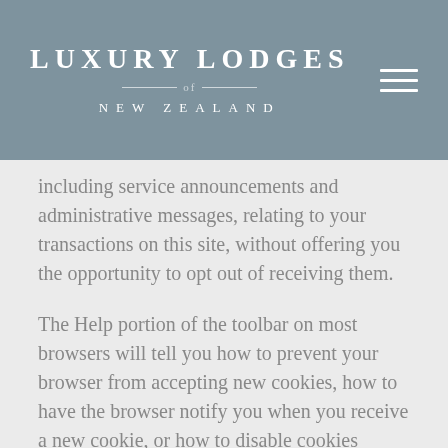LUXURY LODGES OF NEW ZEALAND
including service announcements and administrative messages, relating to your transactions on this site, without offering you the opportunity to opt out of receiving them.
The Help portion of the toolbar on most browsers will tell you how to prevent your browser from accepting new cookies, how to have the browser notify you when you receive a new cookie, or how to disable cookies altogether. Please note that if you refuse to accept cookies from this site, you will not be able to access portions of our